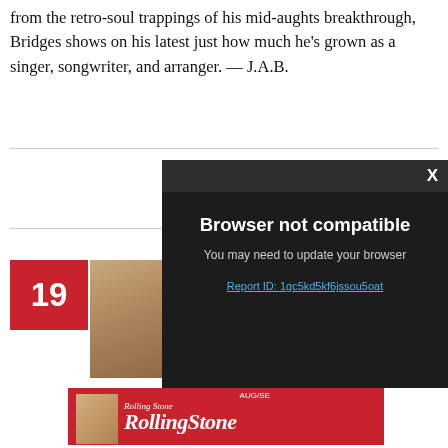from the retro-soul trappings of his mid-aughts breakthrough, Bridges shows on his latest just how much he's grown as a singer, songwriter, and arranger. — J.A.B.
[Figure (screenshot): Browser not compatible modal dialog with dark background, showing title 'Browser not compatible', subtitle 'You may need to update your browser', and a report ID link 'Report ID: 1gc5kd5kf6jssou5oat']
19
[Figure (photo): Album cover thumbnail partially visible]
[Figure (logo): Rolling Stone magazine advertisement banner in red with logo]